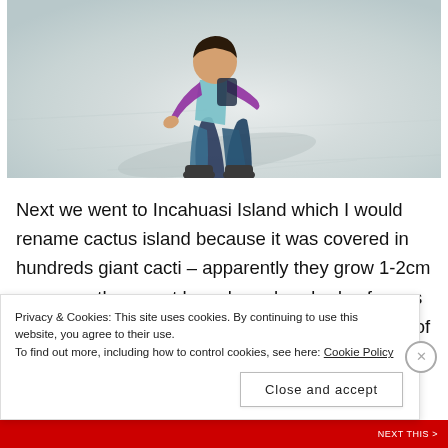[Figure (photo): Person in teal vest and purple long-sleeve crouching on white salt flat surface, casting a shadow on the ground.]
Next we went to Incahuasi Island which I would rename cactus island because it was covered in hundreds giant cacti – apparently they grow 1-2cm a year so they must have been hundreds of years old. The salt flats are caused by the evaporation of what would
Privacy & Cookies: This site uses cookies. By continuing to use this website, you agree to their use.
To find out more, including how to control cookies, see here: Cookie Policy
Close and accept